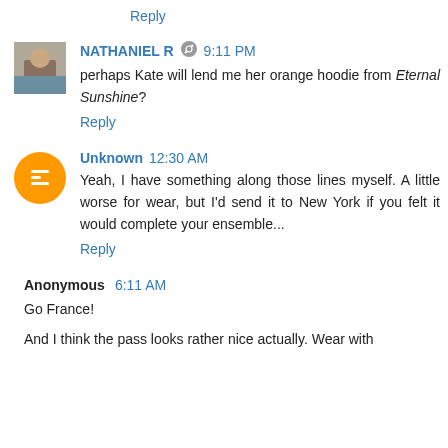Reply
NATHANIEL R  9:11 PM
perhaps Kate will lend me her orange hoodie from Eternal Sunshine?
Reply
Unknown  12:30 AM
Yeah, I have something along those lines myself. A little worse for wear, but I'd send it to New York if you felt it would complete your ensemble...
Reply
Anonymous  6:11 AM
Go France!
And I think the pass looks rather nice actually. Wear with